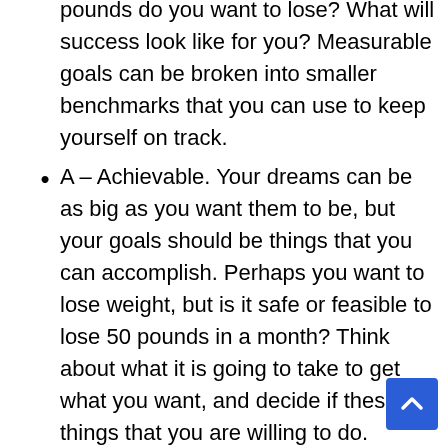pounds do you want to lose? What will success look like for you? Measurable goals can be broken into smaller benchmarks that you can use to keep yourself on track.
A – Achievable. Your dreams can be as big as you want them to be, but your goals should be things that you can accomplish. Perhaps you want to lose weight, but is it safe or feasible to lose 50 pounds in a month? Think about what it is going to take to get what you want, and decide if these are things that you are willing to do. Coming up with reasonable and achievable steps during the goal setting process will keep you from giving up out of frustration.